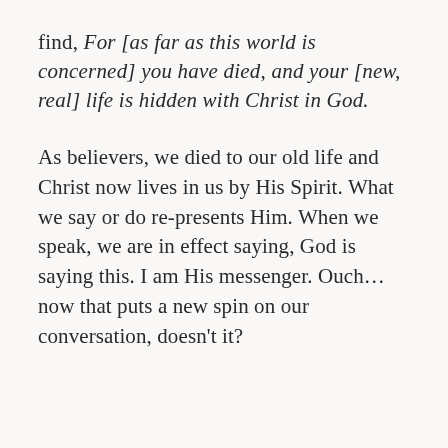find, For [as far as this world is concerned] you have died, and your [new, real] life is hidden with Christ in God.
As believers, we died to our old life and Christ now lives in us by His Spirit. What we say or do re-presents Him. When we speak, we are in effect saying, God is saying this. I am His messenger. Ouch...now that puts a new spin on our conversation, doesn't it?